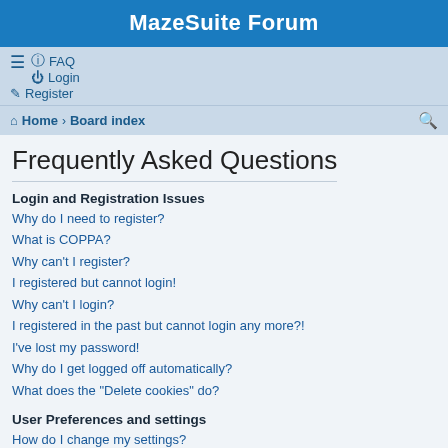MazeSuite Forum
FAQ  Login  Register
Home · Board index
Frequently Asked Questions
Login and Registration Issues
Why do I need to register?
What is COPPA?
Why can't I register?
I registered but cannot login!
Why can't I login?
I registered in the past but cannot login any more?!
I've lost my password!
Why do I get logged off automatically?
What does the "Delete cookies" do?
User Preferences and settings
How do I change my settings?
How do I prevent my username appearing in the online user listings?
The times are not correct!
I changed the timezone and the time is still wrong!
My language is not in the list!